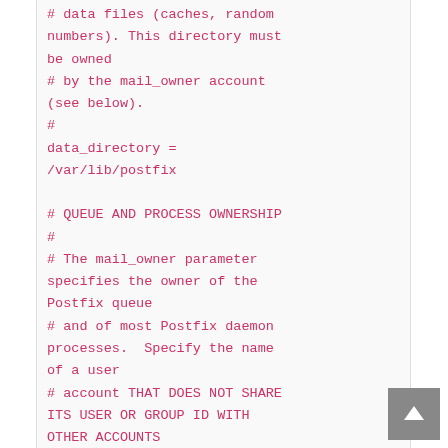# data files (caches, random numbers). This directory must be owned
# by the mail_owner account (see below).
#
data_directory = /var/lib/postfix

# QUEUE AND PROCESS OWNERSHIP
#
# The mail_owner parameter specifies the owner of the Postfix queue
# and of most Postfix daemon processes.  Specify the name of a user
# account THAT DOES NOT SHARE ITS USER OR GROUP ID WITH OTHER ACCOUNTS
# AND THAT OWNS NO OTHER FILES